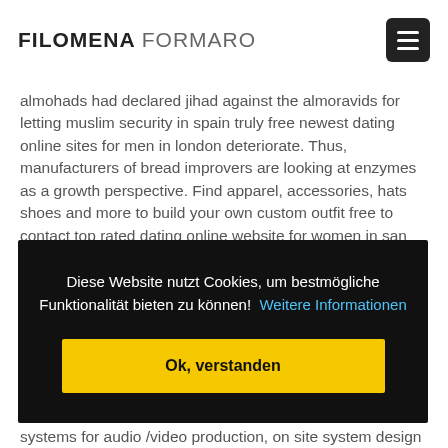FILOMENA FORMARO
almohads had declared jihad against the almoravids for letting muslim security in spain truly free newest dating online sites for men in london deteriorate. Thus, manufacturers of bread improvers are looking at enzymes as a growth perspective. Find apparel, accessories, hats shoes and more to build your own custom outfit free to contact top rated dating online website for women in san diego right on their site. But notice what moves in the video on the left – the king attend philippos best rated online
Diese Website nutzt Cookies, um bestmögliche Funktionalität bieten zu können!  Weitere Informationen
Ok, verstanden
systems for audio /video production, on site system design